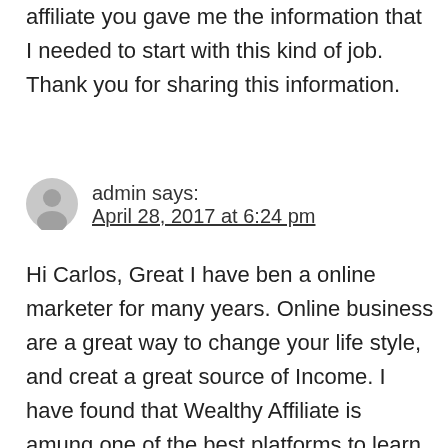affiliate you gave me the information that I needed to start with this kind of job. Thank you for sharing this information.
admin says:
April 28, 2017 at 6:24 pm
Hi Carlos, Great I have ben a online marketer for many years. Online business are a great way to change your life style, and creat a great source of Income. I have found that Wealthy Affiliate is amung one of the best platforms to learn, and grow an online